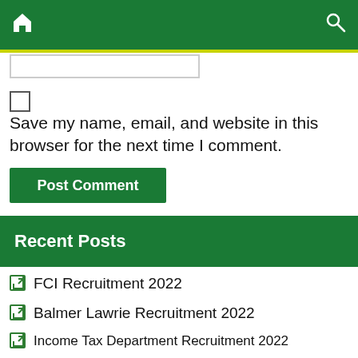Home | Search
Save my name, email, and website in this browser for the next time I comment.
Post Comment
Recent Posts
FCI Recruitment 2022
Balmer Lawrie Recruitment 2022
Income Tax Department Recruitment 2022
APPSC Recruitment 2022
IPR Recruitment 2022